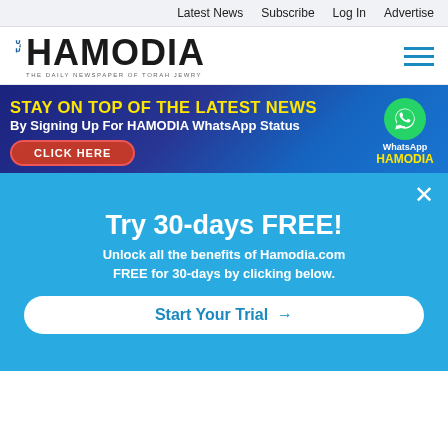Latest News  Subscribe  Log In  Advertise
[Figure (logo): Hamodia logo — THE DAILY NEWSPAPER OF TORAH JEWRY]
[Figure (infographic): Banner ad: STAY ON TOP OF THE LATEST NEWS By Signing Up For HAMODIA WhatsApp Status — CLICK HERE — WhatsApp HAMODIA]
[Figure (photo): Photo of a man standing on a New York City street]
Asylum Seekers Caught In Political Battle In NYC, Washington
08/22/2022
Try 30-days FREE!
Unlock all the benefits of Hamodia.com FREE for 30-days by clicking below.
Start Your Trial →